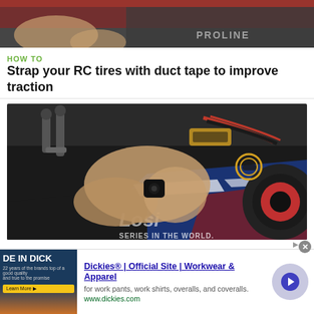[Figure (photo): Partial view of RC car with duct tape on tires, top of page cropped]
HOW TO
Strap your RC tires with duct tape to improve traction
[Figure (photo): RC short course truck chassis being held, wiring and electronics visible, Losi branding on chassis]
HOW TO
Install 17mm hex adapters into a short course truck
[Figure (photo): Advertisement: Dickies workwear ad with image of DE IN DICK branding and desert scene, arrow button, close button]